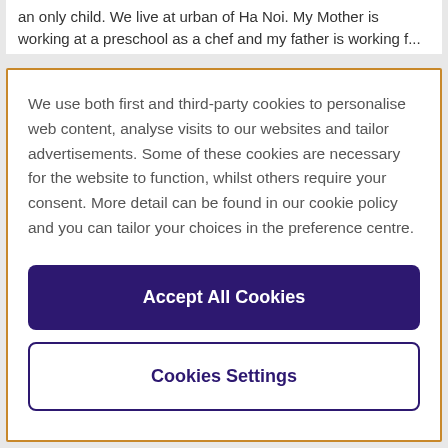an only child. We live at urban of Ha Noi. My Mother is working at a preschool as a chef and my father is working f...
We use both first and third-party cookies to personalise web content, analyse visits to our websites and tailor advertisements. Some of these cookies are necessary for the website to function, whilst others require your consent. More detail can be found in our cookie policy and you can tailor your choices in the preference centre.
Accept All Cookies
Cookies Settings